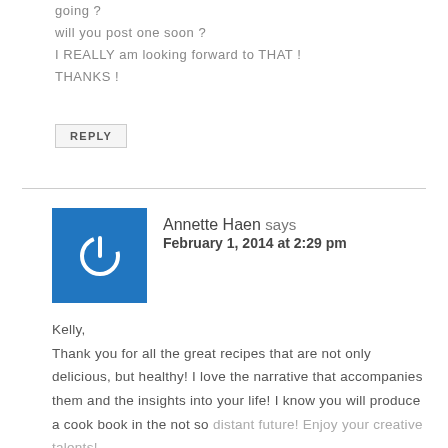going ?
will you post one soon ?
I REALLY am looking forward to THAT !
THANKS !
REPLY
Annette Haen says
February 1, 2014 at 2:29 pm
Kelly,
Thank you for all the great recipes that are not only delicious, but healthy! I love the narrative that accompanies them and the insights into your life! I know you will produce a cook book in the not so distant future! Enjoy your creative talents!
Love,